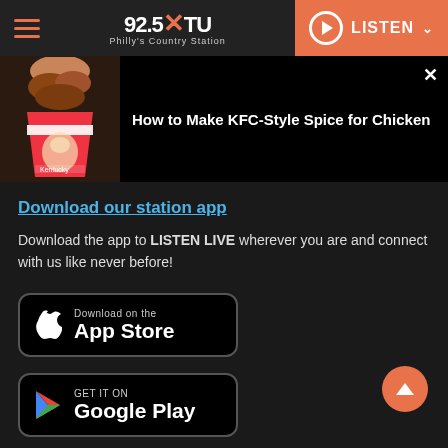92.5 XTU Philly's Country Station — LISTEN
[Figure (screenshot): KFC bucket of chicken with a popup overlay showing article title]
How to Make KFC-Style Spice for Chicken
Download our station app
Download the app to LISTEN LIVE wherever you are and connect with us like never before!
[Figure (logo): Download on the App Store button]
[Figure (logo): Get it on Google Play button]